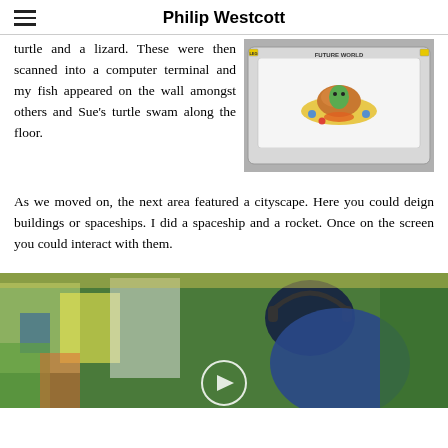Philip Westcott
turtle and a lizard. These were then scanned into a computer terminal and my fish appeared on the wall amongst others and Sue's turtle swam along the floor.
[Figure (photo): A 'Future World' interactive display card showing a colorful alien/UFO illustration on a grey background with LEGO branding.]
As we moved on, the next area featured a cityscape. Here you could deign buildings or spaceships. I did a spaceship and a rocket. Once on the screen you could interact with them.
[Figure (photo): A child wearing headphones interacting with a colorful digital cityscape display; a play button overlay is visible.]